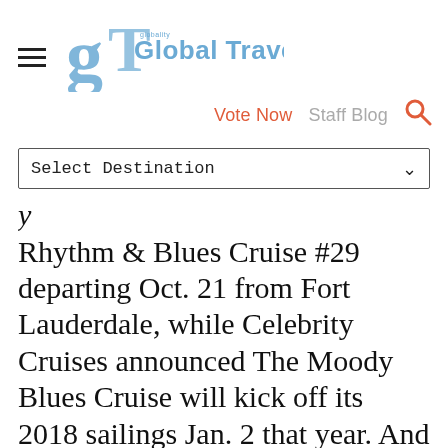Global Traveler
Vote Now   Staff Blog
Select Destination
Rhythm & Blues Cruise #29 departing Oct. 21 from Fort Lauderdale, while Celebrity Cruises announced The Moody Blues Cruise will kick off its 2018 sailings Jan. 2 that year. And connoisseurs of the classics might be